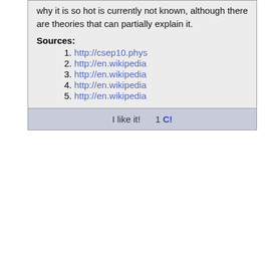why it is so hot is currently not known, although there are theories that can partially explain it.
Sources:
1. http://csep10.phys...
2. http://en.wikipedia...
3. http://en.wikipedia...
4. http://en.wikipedia...
5. http://en.wikipedia...
I like it!   1 C!
by (definition)Webster 1913  Tue Dec 21 1999 at 22:44:13
Co*ro"na (k?-r?"n?), n.; pl. L. Coronae (-n), E. Coronas (-nz). [L. corona crown. See Crown.]